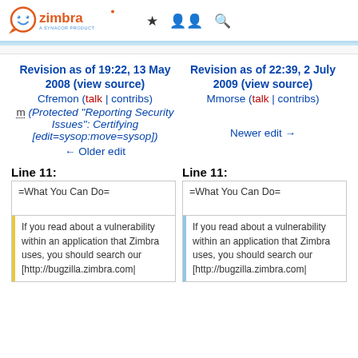Zimbra - A Synacor Product
Revision as of 19:22, 13 May 2008 (view source)
Cfremon (talk | contribs)
m (Protected "Reporting Security Issues": Certifying [edit=sysop:move=sysop])
← Older edit
Revision as of 22:39, 2 July 2009 (view source)
Mmorse (talk | contribs)
Newer edit →
Line 11:
Line 11:
| =What You Can Do= |
| If you read about a vulnerability within an application that Zimbra uses, you should search our [http://bugzilla.zimbra.com| |
| =What You Can Do= |
| If you read about a vulnerability within an application that Zimbra uses, you should search our [http://bugzilla.zimbra.com| |